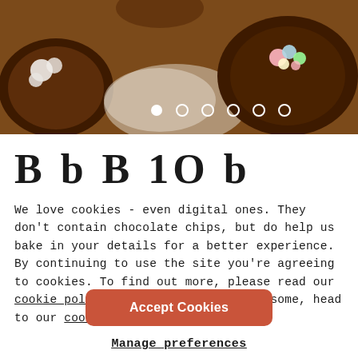[Figure (photo): Photo of chocolate cookies with marshmallows and colorful toppings, partially visible slider dots overlay]
B b B 1O b
We love cookies - even digital ones. They don't contain chocolate chips, but do help us bake in your details for a better experience. By continuing to use the site you're agreeing to cookies. To find out more, please read our cookie policy. If you'd rather bake some, head to our cookie recipes.
Accept Cookies
Manage preferences